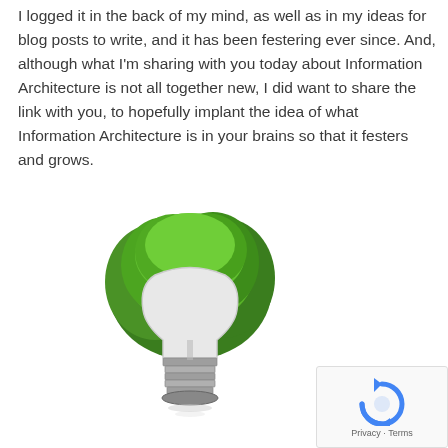I logged it in the back of my mind, as well as in my ideas for blog posts to write, and it has been festering ever since. And, although what I'm sharing with you today about Information Architecture is not all together new, I did want to share the link with you, to hopefully implant the idea of what Information Architecture is in your brains so that it festers and grows.
[Figure (illustration): A light bulb with a green leafy tree growing from the top of the bulb, symbolizing ideas and nature/growth. The bulb has a metallic screw base. The image is on a white background.]
[Figure (logo): reCAPTCHA widget with the circular arrow logo in blue and the text 'Privacy · Terms' at the bottom.]